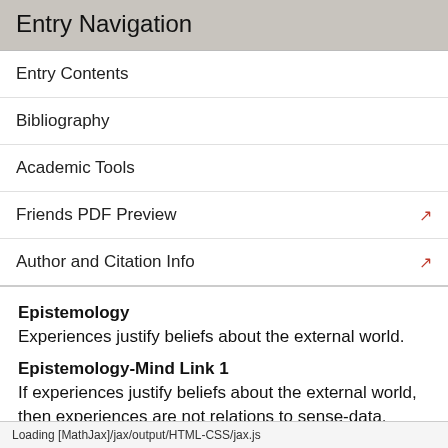Entry Navigation
Entry Contents
Bibliography
Academic Tools
Friends PDF Preview
Author and Citation Info
Epistemology
Experiences justify beliefs about the external world.
Epistemology-Mind Link 1
If experiences justify beliefs about the external world, then experiences are not relations to sense-data.
Mind 1
Experiences are relations to sense-data.
In principle, a sense-datum theorist might accept E-M that Epistemology is
Loading [MathJax]/jax/output/HTML-CSS/jax.js